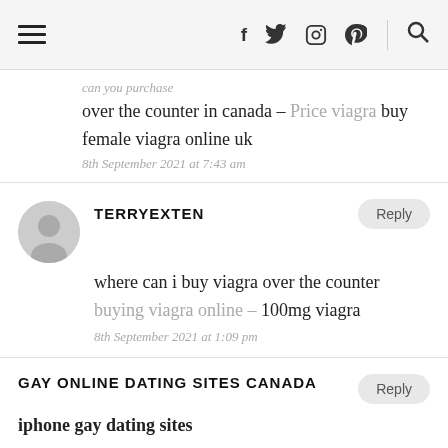Navigation header with hamburger menu, social icons (f, twitter, instagram, pinterest) and search
can you purchase viagra over the counter in canada – Price viagra buy female viagra online uk
8th September 2021 at 7:43 am
TERRYEXTEN
where can i buy viagra over the counter buying viagra online – 100mg viagra
8th September 2021 at 1:09 pm
GAY ONLINE DATING SITES CANADA
iphone gay dating sites